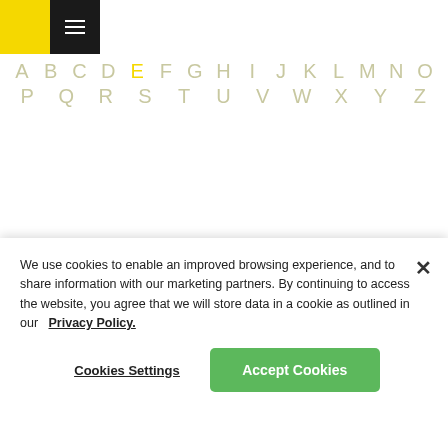Navigation header with yellow logo and hamburger menu
A B C D E F G H I J K L M N O P Q R S T U V W X Y Z (alphabet navigation, E highlighted in yellow)
[Figure (illustration): Line sketch portrait of a man in profile, facing left]
Andreas Eigendorf
[Figure (photo): Black and white circular photo of Johannes Erler, a bald man in dark clothing]
Johannes Erler
We use cookies to enable an improved browsing experience, and to share information with our marketing partners. By continuing to access the website, you agree that we will store data in a cookie as outlined in our  Privacy Policy.
Cookies Settings
Accept Cookies